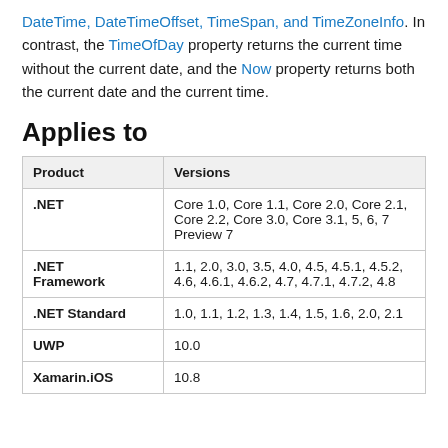DateTime, DateTimeOffset, TimeSpan, and TimeZoneInfo. In contrast, the TimeOfDay property returns the current time without the current date, and the Now property returns both the current date and the current time.
Applies to
| Product | Versions |
| --- | --- |
| .NET | Core 1.0, Core 1.1, Core 2.0, Core 2.1, Core 2.2, Core 3.0, Core 3.1, 5, 6, 7 Preview 7 |
| .NET Framework | 1.1, 2.0, 3.0, 3.5, 4.0, 4.5, 4.5.1, 4.5.2, 4.6, 4.6.1, 4.6.2, 4.7, 4.7.1, 4.7.2, 4.8 |
| .NET Standard | 1.0, 1.1, 1.2, 1.3, 1.4, 1.5, 1.6, 2.0, 2.1 |
| UWP | 10.0 |
| Xamarin.iOS | 10.8 |